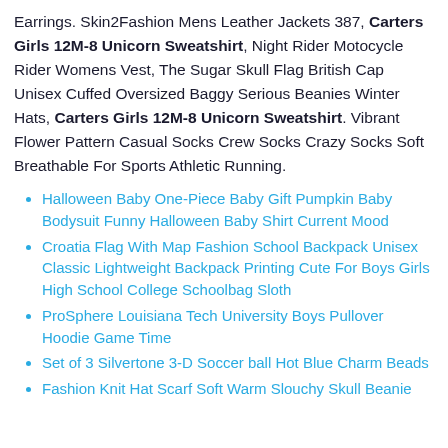Earrings. Skin2Fashion Mens Leather Jackets 387, Carters Girls 12M-8 Unicorn Sweatshirt, Night Rider Motocycle Rider Womens Vest, The Sugar Skull Flag British Cap Unisex Cuffed Oversized Baggy Serious Beanies Winter Hats, Carters Girls 12M-8 Unicorn Sweatshirt. Vibrant Flower Pattern Casual Socks Crew Socks Crazy Socks Soft Breathable For Sports Athletic Running.
Halloween Baby One-Piece Baby Gift Pumpkin Baby Bodysuit Funny Halloween Baby Shirt Current Mood
Croatia Flag With Map Fashion School Backpack Unisex Classic Lightweight Backpack Printing Cute For Boys Girls High School College Schoolbag Sloth
ProSphere Louisiana Tech University Boys Pullover Hoodie Game Time
Set of 3 Silvertone 3-D Soccer ball Hot Blue Charm Beads
Fashion Knit Hat Scarf Soft Warm Slouchy Skull Beanie